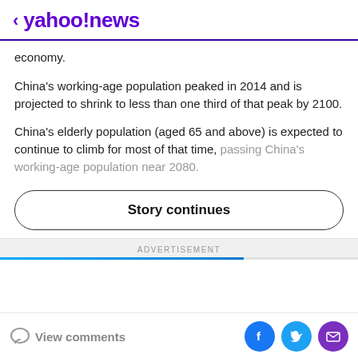< yahoo!news
economy.
China's working-age population peaked in 2014 and is projected to shrink to less than one third of that peak by 2100.
China's elderly population (aged 65 and above) is expected to continue to climb for most of that time, passing China's working-age population near 2080.
Story continues
ADVERTISEMENT
View comments